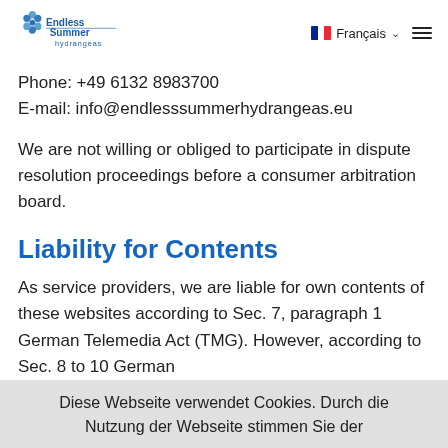Endless Summer hydrangeas | Français | menu
Phone: +49 6132 8983700
E-mail: info@endlesssummerhydrangeas.eu
We are not willing or obliged to participate in dispute resolution proceedings before a consumer arbitration board.
Liability for Contents
As service providers, we are liable for own contents of these websites according to Sec. 7, paragraph 1 German Telemedia Act (TMG). However, according to Sec. 8 to 10 German
Diese Webseite verwendet Cookies. Durch die Nutzung der Webseite stimmen Sie der